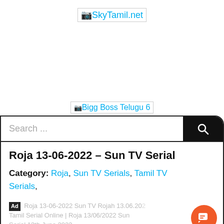SkyTamil.net
[Figure (screenshot): SkyTamil.net logo placeholder image]
[Figure (screenshot): Bigg Boss Telugu 6 image placeholder]
Search ...
Roja 13-06-2022 – Sun TV Serial
Category: Roja, Sun TV Serials, Tamil TV Serials,
Ad  Roja 13-06-2022 Sun TV Rojah 13.06.2022 Tamil Serial Online | Roja 13/06/2022 Sun TV Serial 13th June 2022